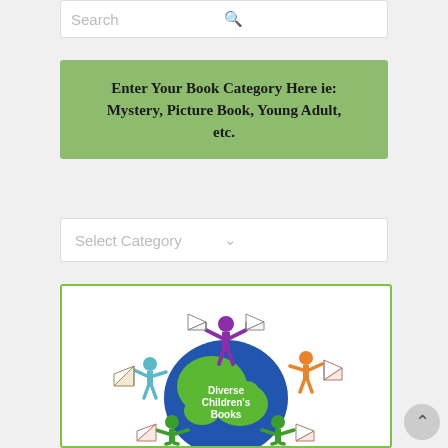Search
Enter Your Book Category Here ie: Mystery, Picture Book, Young Adult, etc.
Select Category
[Figure (illustration): Diverse Children's Books logo: cartoon children figures of various colors holding open books, standing on and around a blue-and-green globe. Text on the globe reads 'Diverse Children's Books'. Children figures are teal, purple, orange, and green.]